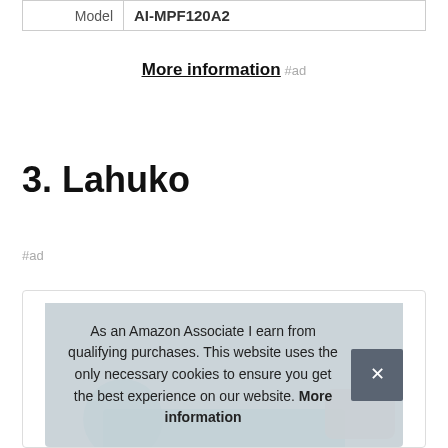| Model | AI-MPF120A2 |
More information #ad
3. Lahuko
#ad
[Figure (photo): Product image of Lahuko item, partially visible with teal and peach colored elements]
As an Amazon Associate I earn from qualifying purchases. This website uses the only necessary cookies to ensure you get the best experience on our website. More information